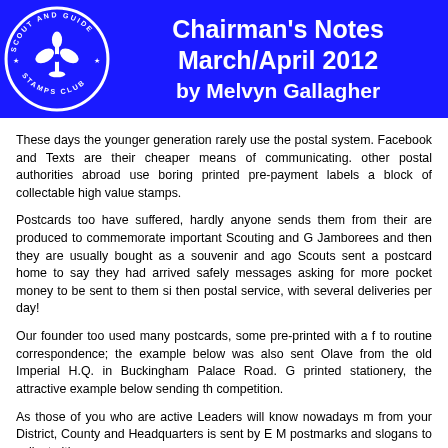Chairman's Notes March/April 2012 by Melvyn Gallagher
These days the younger generation rarely use the postal system. Facebook and Texts are their cheaper means of communicating. other postal authorities abroad use boring printed pre-payment labels a block of collectable high value stamps.
Postcards too have suffered, hardly anyone sends them from their are produced to commemorate important Scouting and Guide Jamborees and then they are usually bought as a souvenir and ago Scouts sent a postcard home to say they had arrived safely messages asking for more pocket money to be sent to them since then postal service, with several deliveries per day!
Our founder too used many postcards, some pre-printed with a face to routine correspondence; the example below was also sent to Olave from the old Imperial H.Q. in Buckingham Palace Road. Guide printed stationery, the attractive example below sending the competition.
As those of you who are active Leaders will know nowadays messages from your District, County and Headquarters is sent by E Mail. postmarks and slogans to collect either.